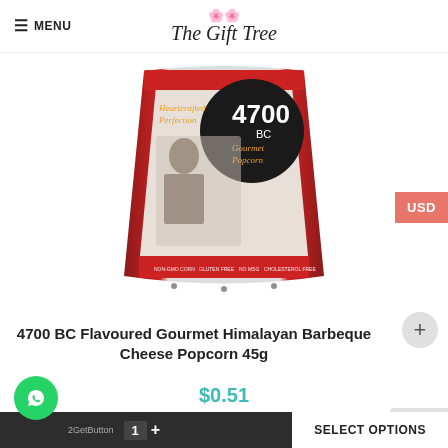≡ MENU | The Gift Tree
[Figure (photo): 4700 BC Gourmet Popcorn bag with red and white packaging, featuring a chef illustration and '4700 BC Gourmet Popcorn' branding. Text on pack reads 'Heartcrafted Perfection'.]
4700 BC Flavoured Gourmet Himalayan Barbeque Cheese Popcorn 45g
$0.51
[Figure (photo): Partial view of a black gift box with an orange/gold stripe, shown at bottom of page.]
GetButton  1  +  SELECT OPTIONS